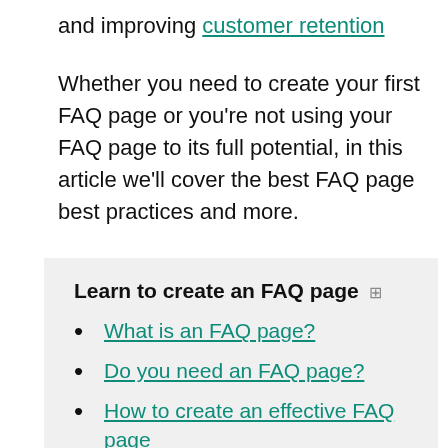and improving customer retention
Whether you need to create your first FAQ page or you're not using your FAQ page to its full potential, in this article we'll cover the best FAQ page best practices and more.
Learn to create an FAQ page 🔗
What is an FAQ page?
Do you need an FAQ page?
How to create an effective FAQ page
How to optimize your FAQ page for SEO